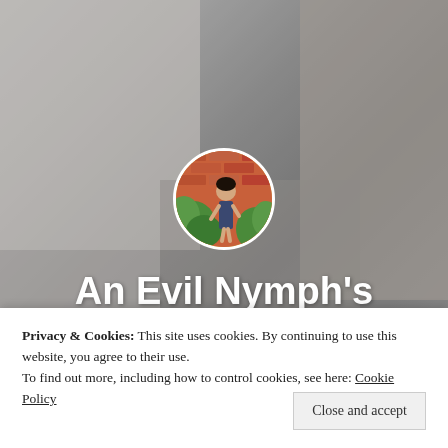[Figure (photo): Background photo of a person writing at a desk with coffee cup, blurred/muted grey tones. A circular avatar photo of a person standing in front of a brick wall with green plants is overlaid in the center.]
An Evil Nymph's Blog
I Think WAY Too Much!
Privacy & Cookies: This site uses cookies. By continuing to use this website, you agree to their use.
To find out more, including how to control cookies, see here: Cookie Policy
Close and accept